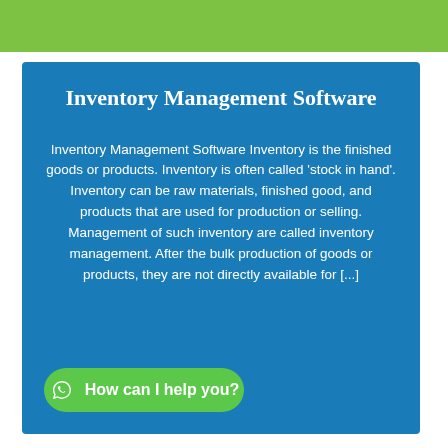Inventory Management Software
Inventory Management Software Inventory is the finished goods or products. Inventory is often called 'stock in hand'. Inventory can be raw materials, finished good, and products that are used for production or selling. Management of such inventory are called inventory management. After the bulk production of goods or products, they are not directly available for [...]
How can I help you?